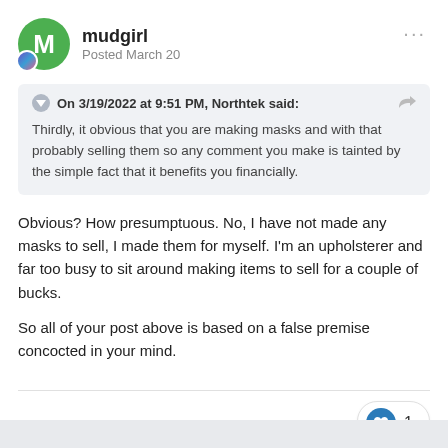mudgirl | Posted March 20
On 3/19/2022 at 9:51 PM, Northtek said:
Thirdly, it obvious that you are making masks and with that probably selling them so any comment you make is tainted by the simple fact that it benefits you financially.
Obvious? How presumptuous. No, I have not made any masks to sell, I made them for myself. I'm an upholsterer and far too busy to sit around making items to sell for a couple of bucks.
So all of your post above is based on a false premise concocted in your mind.
1